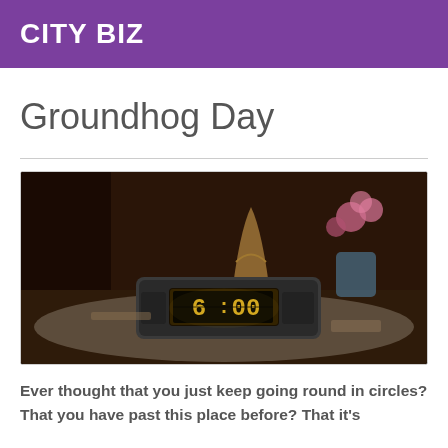CITY BIZ
Groundhog Day
[Figure (photo): A dark scene showing a vintage flip clock reading 6:00 on a doily-covered table, with a brass lamp and pink flowers in the background — a still from the movie Groundhog Day.]
Ever thought that you just keep going round in circles? That you have past this place before? That it's